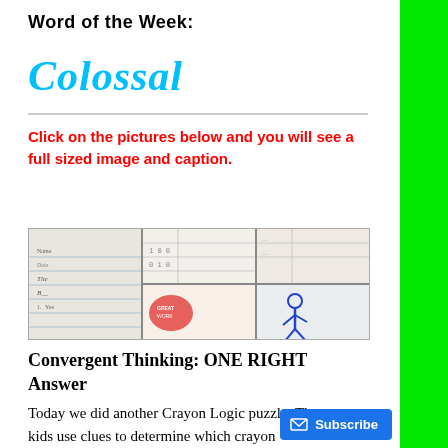Word of the Week:
Colossal
Click on the pictures below and you will see a full sized image and caption.
[Figure (photo): A strip of three student worksheet photos showing crayon logic puzzle work, with handwritten answers and colored crayon drawings]
Convergent Thinking: ONE RIGHT Answer
Today we did another Crayon Logic puzzle. The kids use clues to determine which crayon